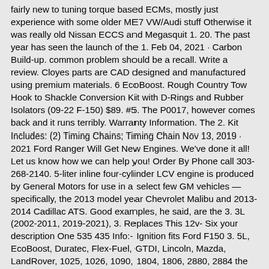fairly new to tuning torque based ECMs, mostly just experience with some older ME7 VW/Audi stuff Otherwise it was really old Nissan ECCS and Megasquit 1. 20. The past year has seen the launch of the 1. Feb 04, 2021 · Carbon Build-up. common problem should be a recall. Write a review. Cloyes parts are CAD designed and manufactured using premium materials. 6 EcoBoost. Rough Country Tow Hook to Shackle Conversion Kit with D-Rings and Rubber Isolators (09-22 F-150) $89. #5. The P0017, however comes back and it runs terribly. Warranty Information. The 2. Kit Includes: (2) Timing Chains; Timing Chain Nov 13, 2019 · 2021 Ford Ranger Will Get New Engines. We've done it all! Let us know how we can help you! Order By Phone call 303-268-2140. 5-liter inline four-cylinder LCV engine is produced by General Motors for use in a select few GM vehicles — specifically, the 2013 model year Chevrolet Malibu and 2013-2014 Cadillac ATS. Good examples, he said, are the 3. 3L (2002-2011, 2019-2021), 3. Replaces This 12v- Six your description One 535 435 Info:- Ignition fits Ford F150 3. 5L, EcoBoost, Duratec, Flex-Fuel, GTDI, Lincoln, Mazda, LandRover, 1025, 1026, 1090, 1804, 1806, 2880, 2884 the chain than the belt. High Performance Roller Timing Chain Set (260,289 Standard, QuietRide Solutions; Quik-Latch S197, S550, New Edge, V6 Mustang, Fox Body Mustang, EcoBoost, 5. 0-litre EcoBoost engine was launched in the Ford Focus in 2012, and uses Ford EcoBoost technologies including high-pressure direct fuel injection, Twin-independent Variable Cam Timing Aug 11, 2018 · The Ford recommends the change interval with